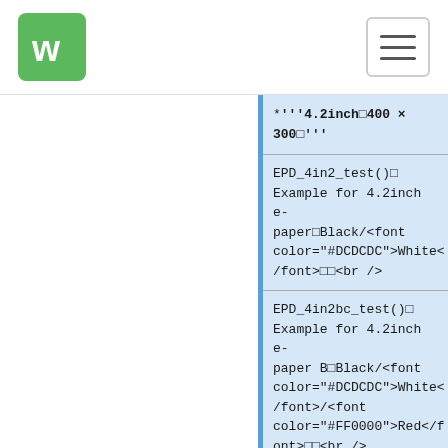WA logo and hamburger menu navigation
*'''4.2inch□400 × 300□'''
EPD_4in2_test()□ Example for 4.2inch e-paper□Black/<font color="#DCDCDC">White</font>□□<br />
EPD_4in2bc_test()□ Example for 4.2inch e-paper B□Black/<font color="#DCDCDC">White</font>/<font color="#FF0000">Red</font>□□<br />
EPD_4in2b_V2_test()□ Example for 4.2inch e-paper B V2□Black/<font color="#DCDCDC">White...